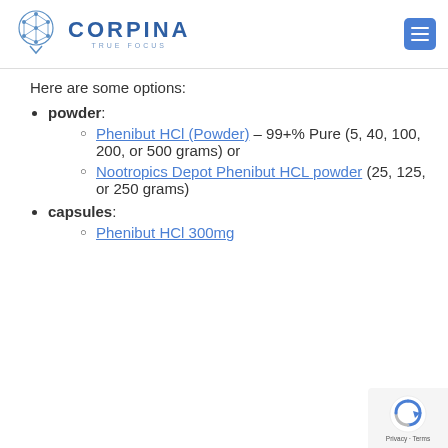CORPINA TRUE FOCUS
Here are some options:
powder:
Phenibut HCl (Powder) – 99+% Pure (5, 40, 100, 200, or 500 grams) or
Nootropics Depot Phenibut HCL powder (25, 125, or 250 grams)
capsules:
Phenibut HCl 300mg